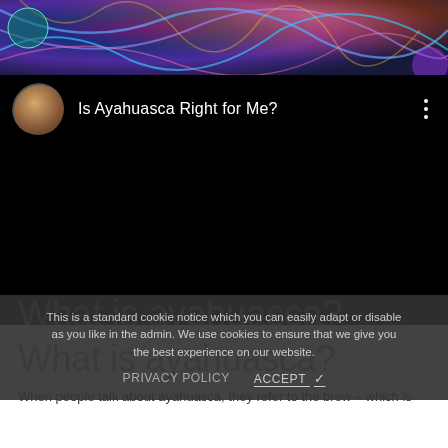[Figure (photo): Colorful psychedelic swirling abstract image at the top of the page, with blues, purples, and oranges]
[Figure (screenshot): YouTube video embed showing 'Is Ayahuasca Right for Me?' with a circular avatar thumbnail on the left, the video title in white text on black background, and a three-dot menu icon on the right. The video content area is entirely black.]
This is a standard cookie notice which you can easily adapt or disable as you like in the admin. We use cookies to ensure that we give you the best experience on our website.
PRIVACY POLICY   ACCEPT ✓
What is ayahuasca?
When people talk about ayahuasca, they refer to the brew – which is